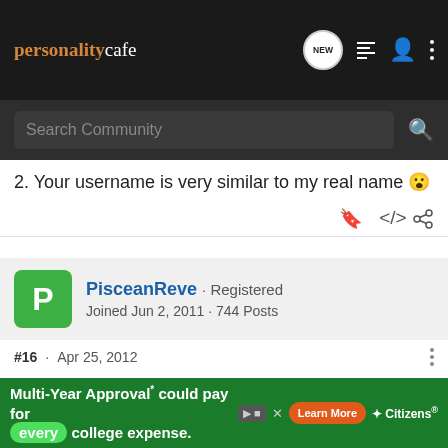personalitycafe — Search Community
2. Your username is very similar to my real name 😮
PisceanReve · Registered
Joined Jun 2, 2011 · 744 Posts
#16 · Apr 25, 2012
I used to care about this a lot in middle school (extremely annoyed at myself, I promise) but as I go through high school, I notice a lot of mixing...like there are groups of similar people but they mingle with others too. I used to judge people as the same de... I pre-judge so... st going
[Figure (other): Multi-Year Approval could pay for every college expense. Learn More — Citizens advertisement banner]